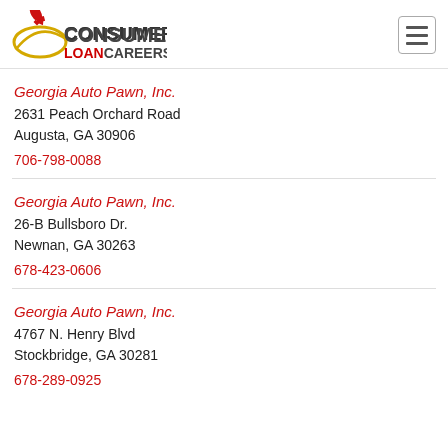[Figure (logo): ConsumerLoanCareers logo with stylized rocket and oval shape in red and yellow, text CONSUMER in dark gray, LOAN in red, CAREERS in dark gray]
Georgia Auto Pawn, Inc.
2631 Peach Orchard Road
Augusta, GA 30906
706-798-0088
Georgia Auto Pawn, Inc.
26-B Bullsboro Dr.
Newnan, GA 30263
678-423-0606
Georgia Auto Pawn, Inc.
4767 N. Henry Blvd
Stockbridge, GA 30281
678-289-0925